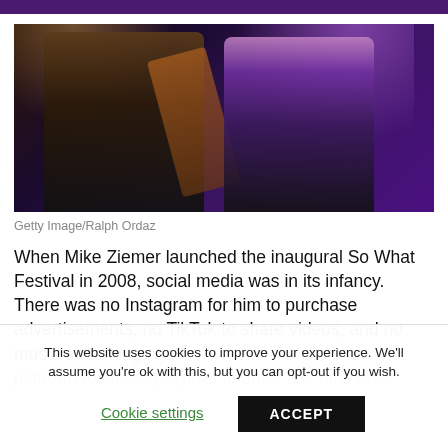[Figure (photo): Two musicians performing on a concert stage. Left figure plays guitar and holds a microphone, right figure with long light-colored hair sings into a microphone. Purple and orange stage lighting in background.]
Getty Image/Ralph Ordaz
When Mike Ziemer launched the inaugural So What Festival in 2008, social media was in its infancy. There was no Instagram for him to purchase advertisements, no TikTok to share videos, and no music streaming
This website uses cookies to improve your experience. We'll assume you're ok with this, but you can opt-out if you wish.
Cookie settings   ACCEPT